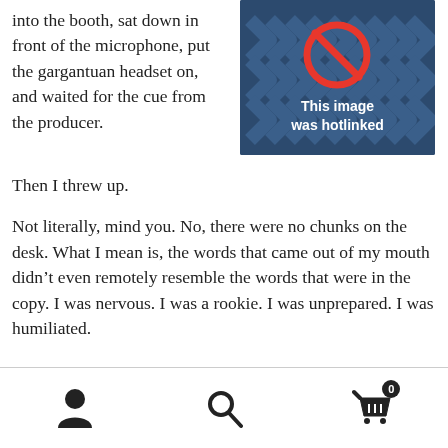into the booth, sat down in front of the microphone, put the gargantuan headset on, and waited for the cue from the producer.
[Figure (illustration): Hotlinked image placeholder: dark blue background with chevron/arrow pattern, a red circle-and-slash no symbol, and white bold text reading 'This image was hotlinked']
Then I threw up.
Not literally, mind you. No, there were no chunks on the desk. What I mean is, the words that came out of my mouth didn't even remotely resemble the words that were in the copy. I was nervous. I was a rookie. I was unprepared. I was humiliated.
Navigation bar with user icon, search icon, and cart icon with badge 0